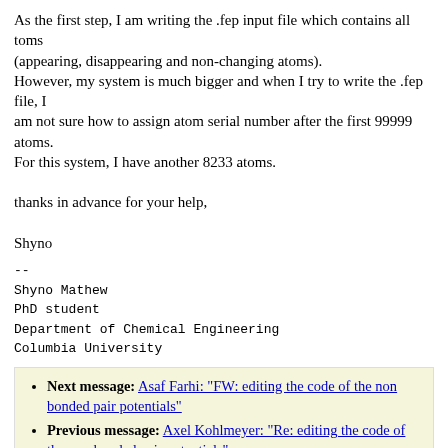As the first step, I am writing the .fep input file which contains all toms
(appearing, disappearing and non-changing atoms).
However, my system is much bigger and when I try to write the .fep file, I
am not sure how to assign atom serial number after the first 99999 atoms.
For this system, I have another 8233 atoms.

thanks in advance for your help,

Shyno
--
Shyno Mathew
PhD student
Department of Chemical Engineering
Columbia University
Next message: Asaf Farhi: "FW: editing the code of the non bonded pair potentials"
Previous message: Axel Kohlmeyer: "Re: editing the code of the non bonded pair potentials"
Messages sorted by: [ date ] [ thread ] [ subject ] [ author ] [ attachment ]